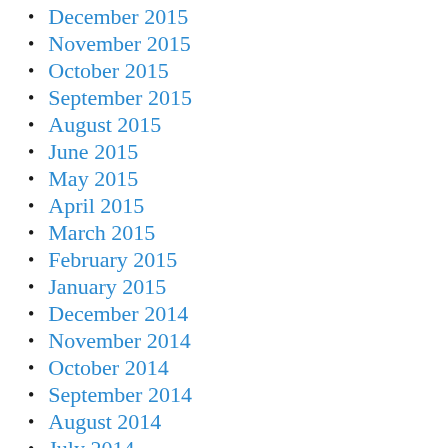December 2015
November 2015
October 2015
September 2015
August 2015
June 2015
May 2015
April 2015
March 2015
February 2015
January 2015
December 2014
November 2014
October 2014
September 2014
August 2014
July 2014